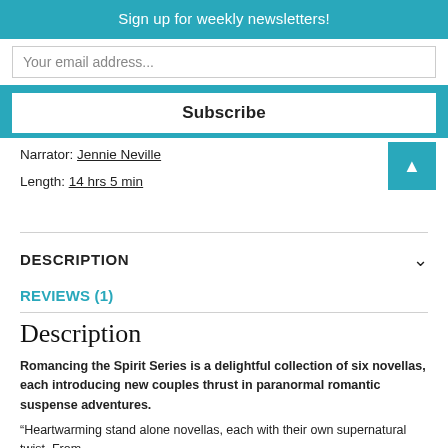Sign up for weekly newsletters!
Your email address...
Subscribe
Narrator: Jennie Neville
Length: 14 hrs 5 min
DESCRIPTION
REVIEWS (1)
Description
Romancing the Spirit Series is a delightful collection of six novellas, each introducing new couples thrust in paranormal romantic suspense adventures.
“Heartwarming stand alone novellas, each with their own supernatural twist. From